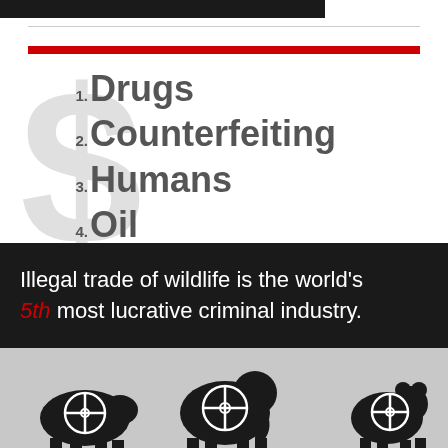[Figure (infographic): Dark top bar graphic element]
1. Drugs
2. Counterfeiting
3. Humans
4. Oil
5. WILDLIFE
Illegal trade of wildlife is the world's 5th most lucrative criminal industry.
[Figure (illustration): Silhouettes of animals (rhino, elephant, bear) with crosshair targets overlaid, on grey background]